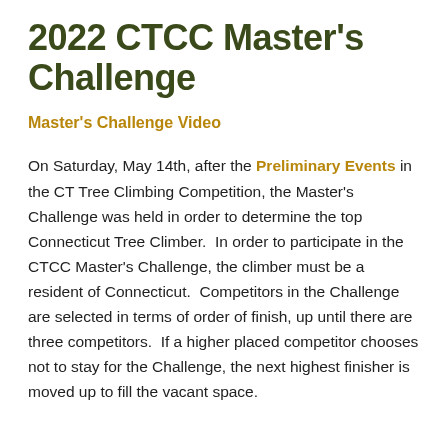2022 CTCC Master's Challenge
Master's Challenge Video
On Saturday, May 14th, after the Preliminary Events in the CT Tree Climbing Competition, the Master's Challenge was held in order to determine the top Connecticut Tree Climber.  In order to participate in the CTCC Master's Challenge, the climber must be a resident of Connecticut.  Competitors in the Challenge are selected in terms of order of finish, up until there are three competitors.  If a higher placed competitor chooses not to stay for the Challenge, the next highest finisher is moved up to fill the vacant space.